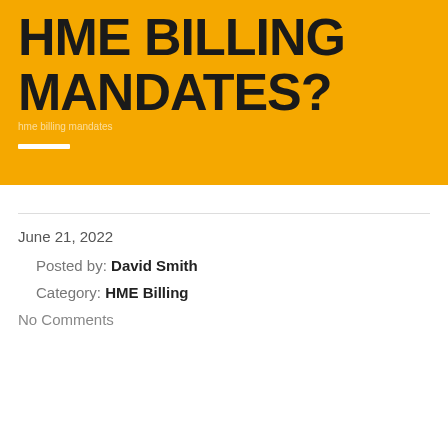HME BILLING MANDATES?
June 21, 2022
Posted by: David Smith
Category: HME Billing
No Comments